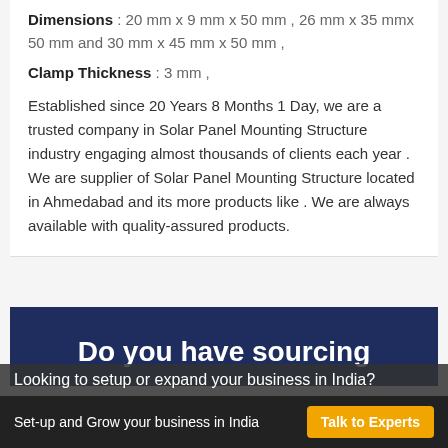Dimensions : 20 mm x 9 mm x 50 mm , 26 mm x 35 mmx 50 mm and 30 mm x 45 mm x 50 mm ,
Clamp Thickness : 3 mm ,
Established since 20 Years 8 Months 1 Day, we are a trusted company in Solar Panel Mounting Structure industry engaging almost thousands of clients each year . We are supplier of Solar Panel Mounting Structure located in Ahmedabad and its more products like . We are always available with quality-assured products.
Do you have sourcing
Looking to setup or expand your business in India?
Set-up and Grow your business in India
Talk to Experts